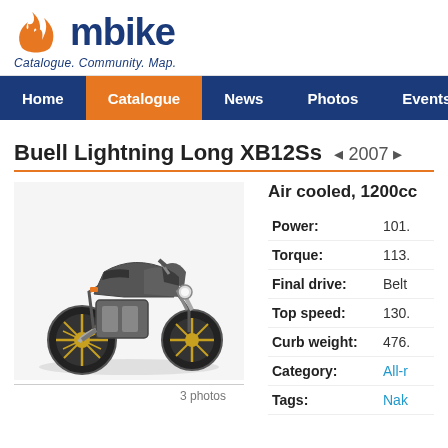[Figure (logo): mbike website logo with orange flame icon and dark blue text reading 'mbike', tagline: 'Catalogue. Community. Map.']
Home | Catalogue | News | Photos | Events | Co...
Buell Lightning Long XB12Ss ◂ 2007 ▸
[Figure (photo): Buell Lightning Long XB12Ss 2007 motorcycle, dark grey/charcoal color with gold wheels, side-angled view]
3 photos
Air cooled, 1200cc
| Spec | Value |
| --- | --- |
| Power: | 101. |
| Torque: | 113. |
| Final drive: | Belt |
| Top speed: | 130. |
| Curb weight: | 476. |
| Category: | All-r |
| Tags: | Nak |